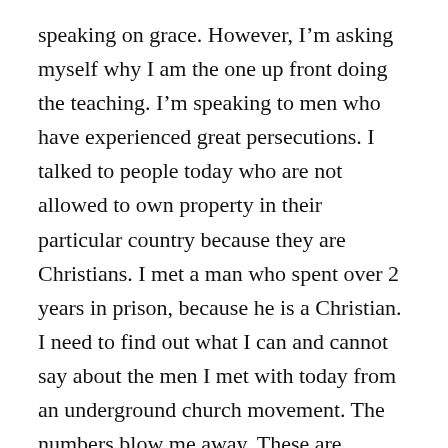speaking on grace.  However, I'm asking myself why I am the one up front doing the teaching. I'm speaking to men who have experienced great persecutions.  I talked to people today who are not allowed to own property in their particular country because they are Christians.  I met a man who spent over 2 years in prison, because he is a Christian.  I need to find out what I can and cannot say about the men I met with today from an underground church movement. The numbers blow me away.  These are humble men.
And I'm the one teaching them about grace.  I should just sit down and shut up.
But, by God's grace and in obedience to Him, I'll keep